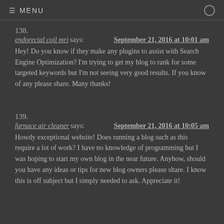≡ MENU
138.
endorectal coil mri says: September 21, 2016 at 10:01 am
Hey! Do you know if they make any plugins to assist with Search Engine Optimization? I'm trying to get my blog to rank for some targeted keywords but I'm not seeing very good results. If you know of any please share. Many thanks!
139.
furnace air cleaner says: September 21, 2016 at 10:05 am
Howdy exceptional website! Does running a blog such as this require a lot of work? I have no knowledge of programming but I was hoping to start my own blog in the near future. Anyhow, should you have any ideas or tips for new blog owners please share. I know this is off subject but I simply needed to ask. Appreciate it!